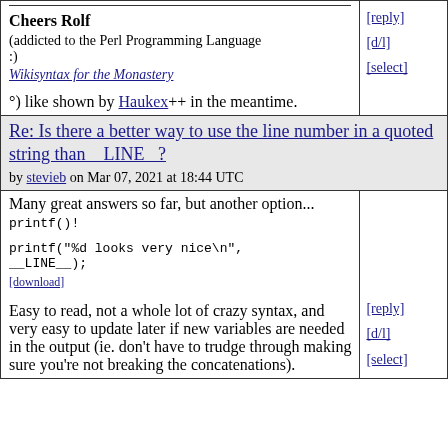Cheers Rolf
(addicted to the Perl Programming Language :)
Wikisyntax for the Monastery
°) like shown by Haukex++ in the meantime.
Re: Is there a better way to use the line number in a quoted string than __LINE__?
by stevieb on Mar 07, 2021 at 18:44 UTC
Many great answers so far, but another option... printf()!
printf("%d looks very nice\n", __LINE__);
[download]
Easy to read, not a whole lot of crazy syntax, and very easy to update later if new variables are needed in the output (ie. don't have to trudge through making sure you're not breaking the concatenations).